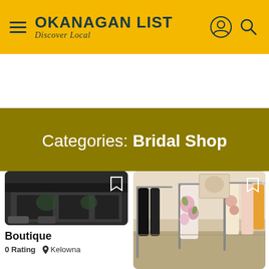OKANAGAN LIST — Discover Local
Categories: Bridal Shop
Near Me
[Figure (photo): Exterior photo of a boutique storefront building, dark tones]
Boutique
0 Rating  Kelowna
[Figure (photo): Interior of a clothing boutique with floral dresses on racks]